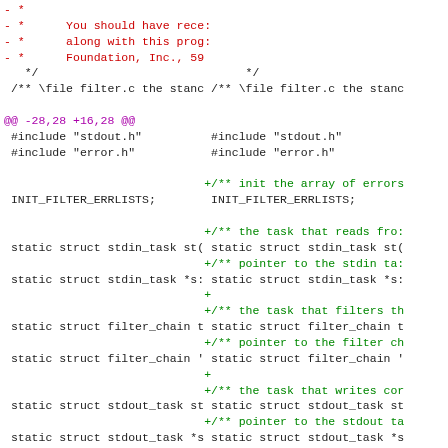[Figure (screenshot): Side-by-side diff view of filter.c source code showing removed lines in red and added lines in green, with hunk header in magenta. Includes #include statements, struct declarations, and Doxygen comments.]